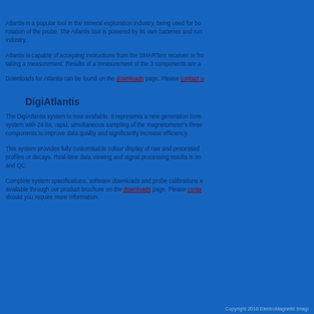Atlantis is a popular tool in the mineral exploration industry, being used for borehole surveys requiring a high degree of accuracy and immunity to the effects of rotation of the probe. The Atlantis tool is powered by its own batteries and runs autonomously using technology developed specifically for the industry.
Atlantis is capable of accepting instructions from the SMARTem receiver or from a tablet/laptop PC, with these instructions including starting or taking a measurement. Results of a measurement of the 3 components are available in real time.
Downloads for Atlantis can be found on the downloads page. Please contact us
DigiAtlantis
The DigiAtlantis system is now available. It represents a new generation borehole magnetometer system with 24-bit, rapid, simultaneous sampling of the magnetometer's three components to improve data quality and significantly increase efficiency.
This system provides fully customisable colour display of raw and processed data as profiles or decays. Real-time data viewing and signal processing results in improved data and QC.
Complete system specifications, software downloads and probe calibrations are available through our product brochure on the downloads page. Please contact us should you require more information.
Copyright 2016 ElectroMagnetic Imaging Technology